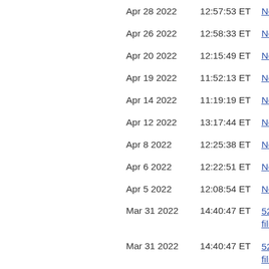| Date | Time | Type |
| --- | --- | --- |
| Apr 28 2022 | 12:57:53 ET | News relea... |
| Apr 26 2022 | 12:58:33 ET | News relea... |
| Apr 20 2022 | 12:15:49 ET | News relea... |
| Apr 19 2022 | 11:52:13 ET | News relea... |
| Apr 14 2022 | 11:19:19 ET | News relea... |
| Apr 12 2022 | 13:17:44 ET | News relea... |
| Apr 8 2022 | 12:25:38 ET | News relea... |
| Apr 6 2022 | 12:22:51 ET | News relea... |
| Apr 5 2022 | 12:08:54 ET | News relea... |
| Mar 31 2022 | 14:40:47 ET | 52-109F1 - filings - CE... |
| Mar 31 2022 | 14:40:47 ET | 52-109F1 - filings - CF... |
| Mar 31 2022 | 14:39:51 ET | Annual info... |
| Mar 31 2022 | 10:31:58 ET | News relea... |